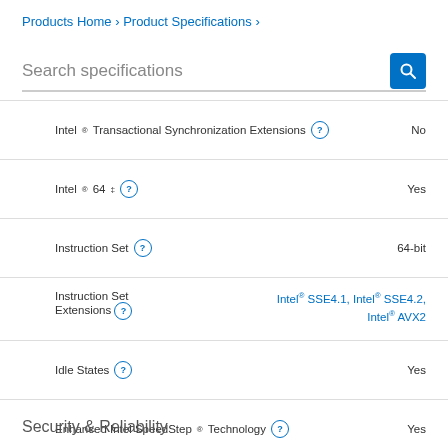Products Home › Product Specifications ›
Search specifications
| Specification | Value |
| --- | --- |
| Intel® Transactional Synchronization Extensions | No |
| Intel® 64 ‡ | Yes |
| Instruction Set | 64-bit |
| Instruction Set Extensions | Intel® SSE4.1, Intel® SSE4.2, Intel® AVX2 |
| Idle States | Yes |
| Enhanced Intel SpeedStep® Technology | Yes |
| Thermal Monitoring Technologies | Yes |
| Intel® Identity Protection Technology ‡ | Yes |
Security & Reliability